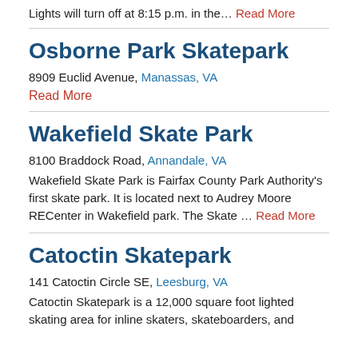Lights will turn off at 8:15 p.m. in the… Read More
Osborne Park Skatepark
8909 Euclid Avenue, Manassas, VA
Read More
Wakefield Skate Park
8100 Braddock Road, Annandale, VA
Wakefield Skate Park is Fairfax County Park Authority's first skate park. It is located next to Audrey Moore RECenter in Wakefield park. The Skate … Read More
Catoctin Skatepark
141 Catoctin Circle SE, Leesburg, VA
Catoctin Skatepark is a 12,000 square foot lighted skating area for inline skaters, skateboarders, and